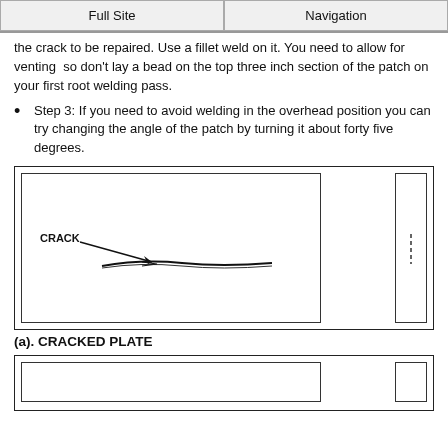Full Site | Navigation
the crack to be repaired. Use a fillet weld on it. You need to allow for venting  so don't lay a bead on the top three inch section of the patch on your first root welding pass.
Step 3: If you need to avoid welding in the overhead position you can try changing the angle of the patch by turning it about forty five degrees.
[Figure (engineering-diagram): Engineering diagram showing a cracked plate. The main panel shows a horizontal plate with a crack labeled 'CRACK' with an arrow pointing to the crack. To the right is a narrow vertical rectangle representing a side view with dashed lines indicating a weld or joint area.]
(a). CRACKED PLATE
[Figure (engineering-diagram): Second engineering diagram panel showing the bottom portion of another figure, partially visible. Contains a main rectangular panel and a smaller side panel on the right.]